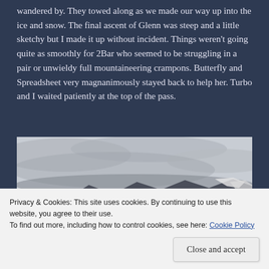wandered by. They towed along as we made our way up into the ice and snow. The final ascent of Glenn was steep and a little sketchy but I made it up without incident. Things weren't going quite as smoothly for 2Bar who seemed to be struggling in a pair or unwieldy full mountaineering crampons. Butterfly and Spreadsheet very magnanimously stayed back to help her. Turbo and I waited patiently at the top of the pass.
[Figure (photo): Mountain panorama view with snow-covered peaks and dramatic cloudy sky. Dark rocky mountains in the foreground with snowy slopes visible on the right side.]
Privacy & Cookies: This site uses cookies. By continuing to use this website, you agree to their use.
To find out more, including how to control cookies, see here: Cookie Policy
Close and accept